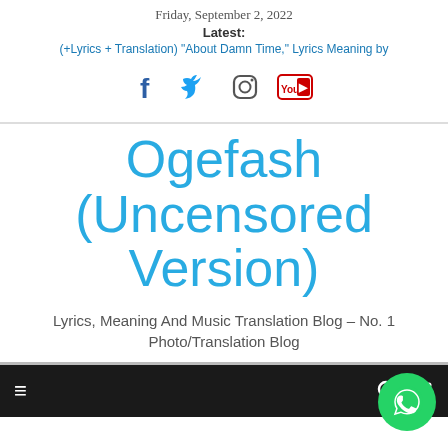Friday, September 2, 2022
Latest:
(+Lyrics + Translation) “About Damn Time,” Lyrics Meaning by
[Figure (other): Social media icons: Facebook, Twitter, Instagram, YouTube]
Ogefash (Uncensored Version)
Lyrics, Meaning And Music Translation Blog – No. 1 Photo/Translation Blog
[Figure (other): Navigation bar with hamburger menu, search icon, share icon, and WhatsApp button]